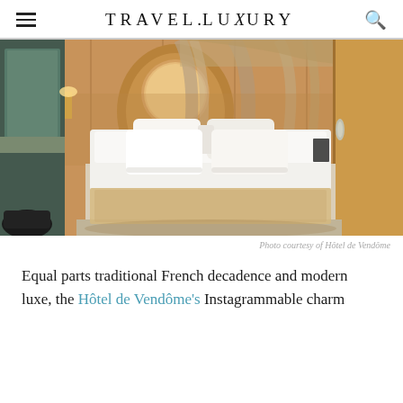TRAVEL.LUXURY
[Figure (photo): Luxury hotel room with a king-size bed dressed in white linens and a champagne-colored throw. A draped canopy of taupe fabric hangs behind the headboard. To the left is a curved vanity/desk area with a round mirror, set against warm wood paneling. The bathroom is partially visible on the far left with dark marble walls.]
Photo courtesy of Hôtel de Vendôme
Equal parts traditional French decadence and modern luxe, the Hôtel de Vendôme's Instagrammable charm